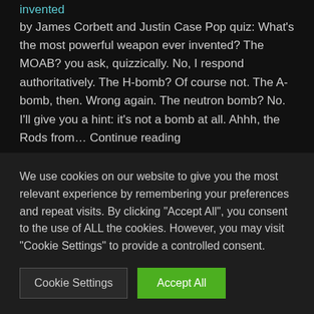invented
by James Corbett and Justin Case Pop quiz: What's the most powerful weapon ever invented? The MOAB? you ask, quizzically. No, I respond authoritatively. The H-bomb? Of course not. The A-bomb, then. Wrong again. The neutron bomb? No. I'll give you a hint: it's not a bomb at all. Ahhh, the Rods from… Continue reading
ARCHIVES
We use cookies on our website to give you the most relevant experience by remembering your preferences and repeat visits. By clicking "Accept All", you consent to the use of ALL the cookies. However, you may visit "Cookie Settings" to provide a controlled consent.
Cookie Settings   Accept All